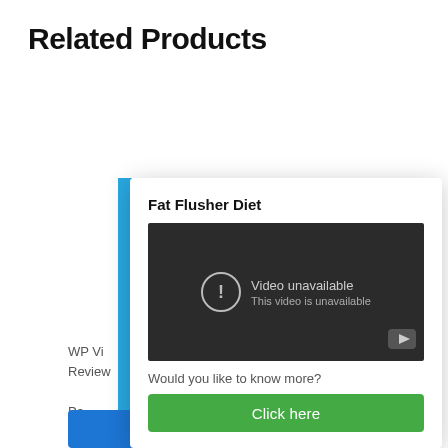Related Products
WP Vi
Review
Pa
Fat Flusher Diet
[Figure (screenshot): Embedded video player showing 'Video unavailable / This video is unavailable' error message with a YouTube logo icon in the bottom-right corner.]
Would you like to know more?
Click here